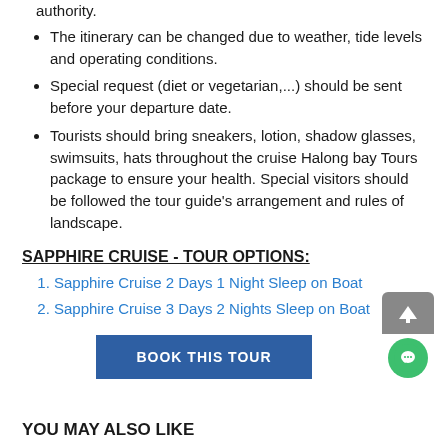authority.
The itinerary can be changed due to weather, tide levels and operating conditions.
Special request (diet or vegetarian,...) should be sent before your departure date.
Tourists should bring sneakers, lotion, shadow glasses, swimsuits, hats throughout the cruise Halong bay Tours package to ensure your health. Special visitors should be followed the tour guide's arrangement and rules of landscape.
SAPPHIRE CRUISE - TOUR OPTIONS:
Sapphire Cruise 2 Days 1 Night Sleep on Boat
Sapphire Cruise 3 Days 2 Nights Sleep on Boat
BOOK THIS TOUR
YOU MAY ALSO LIKE